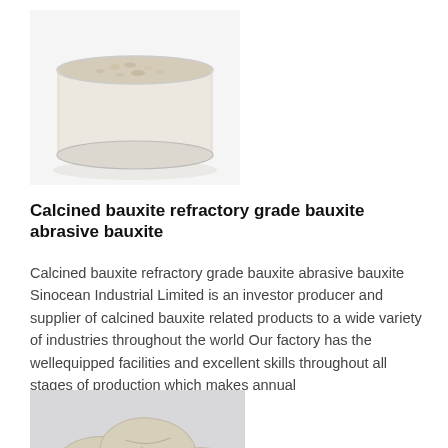[Figure (photo): A clear circular container filled with fine off-white calcined bauxite powder, viewed from above on a white background.]
Calcined bauxite refractory grade bauxite abrasive bauxite
Calcined bauxite refractory grade bauxite abrasive bauxite Sinocean Industrial Limited is an investor producer and supplier of calcined bauxite related products to a wide variety of industries throughout the world Our factory has the wellequipped facilities and excellent skills throughout all stages of production which makes annual
[Figure (photo): Three oval/egg-shaped off-white calcined bauxite stones or pellets grouped together on a light gray background.]